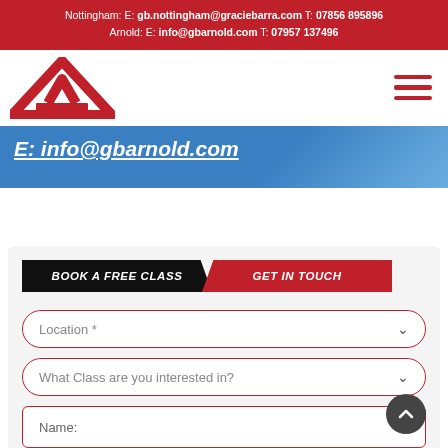Nottingham: E: gb.nottingham@graciebarra.com T: 07856 895896
Arnold: E: info@gbarnold.com T: 07957 137496
[Figure (logo): Gracie Barra red triangle logo and hamburger menu icon]
E: info@gbarnold.com
BOOK A FREE CLASS | GET IN TOUCH
Location *
What Class are you interested in?
Name:
Email: